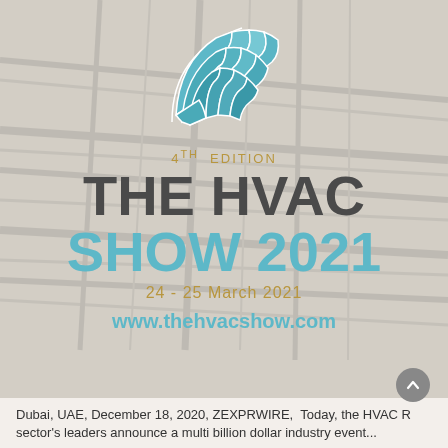[Figure (logo): The HVAC Show fan/arc shaped logo in blue tones]
4TH EDITION
THE HVAC SHOW 2021
24 - 25 March 2021
www.thehvacshow.com
Dubai, UAE, December 18, 2020, ZEXPRWIRE, Today, the HVAC R sector's leaders announce a multi billion dollar industry event...